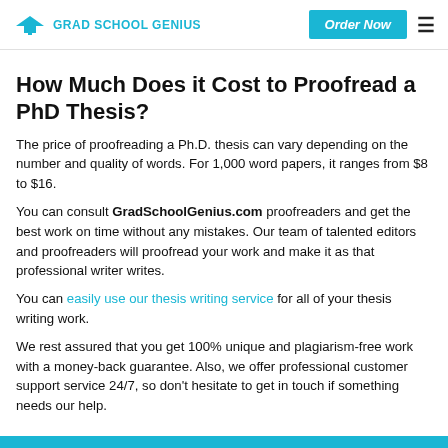GRAD SCHOOL GENIUS | Order Now
How Much Does it Cost to Proofread a PhD Thesis?
The price of proofreading a Ph.D. thesis can vary depending on the number and quality of words. For 1,000 word papers, it ranges from $8 to $16.
You can consult GradSchoolGenius.com proofreaders and get the best work on time without any mistakes. Our team of talented editors and proofreaders will proofread your work and make it as that professional writer writes.
You can easily use our thesis writing service for all of your thesis writing work.
We rest assured that you get 100% unique and plagiarism-free work with a money-back guarantee. Also, we offer professional customer support service 24/7, so don't hesitate to get in touch if something needs our help.